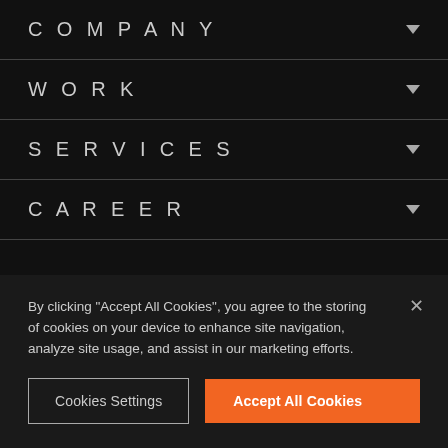COMPANY
WORK
SERVICES
CAREER
By clicking "Accept All Cookies", you agree to the storing of cookies on your device to enhance site navigation, analyze site usage, and assist in our marketing efforts.
Cookies Settings
Accept All Cookies